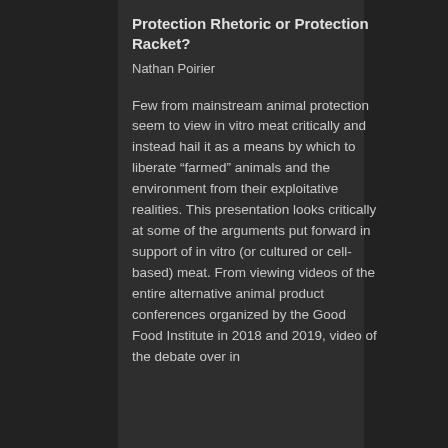Protection Rhetoric or Protection Racket?
Nathan Poirier
Few from mainstream animal protection seem to view in vitro meat critically and instead hail it as a means by which to liberate “farmed” animals and the environment from their exploitative realities. This presentation looks critically at some of the arguments put forward in support of in vitro (or cultured or cell-based) meat. From viewing videos of the entire alternative animal product conferences organized by the Good Food Institute in 2018 and 2019, video of the debate over in